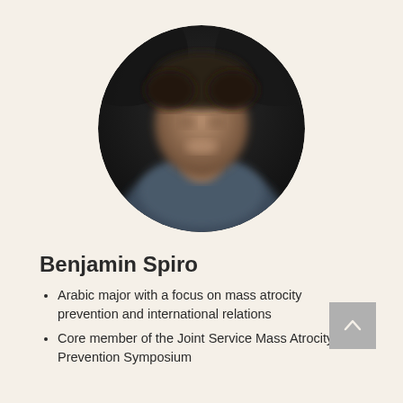[Figure (photo): Circular profile photo of a person, blurred/pixelated for privacy, showing a man with dark hair smiling, with a dark background.]
Benjamin Spiro
Arabic major with a focus on mass atrocity prevention and international relations
Core member of the Joint Service Mass Atrocity Prevention Symposium